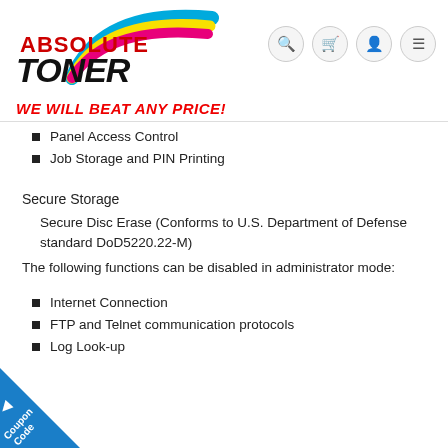[Figure (logo): Absolute Toner logo with colorful swoosh (cyan, yellow, magenta) and bold text 'ABSOLUTE TONER']
WE WILL BEAT ANY PRICE!
Panel Access Control
Job Storage and PIN Printing
Secure Storage
Secure Disc Erase (Conforms to U.S. Department of Defense standard DoD5220.22-M)
The following functions can be disabled in administrator mode:
Internet Connection
FTP and Telnet communication protocols
Log Look-up